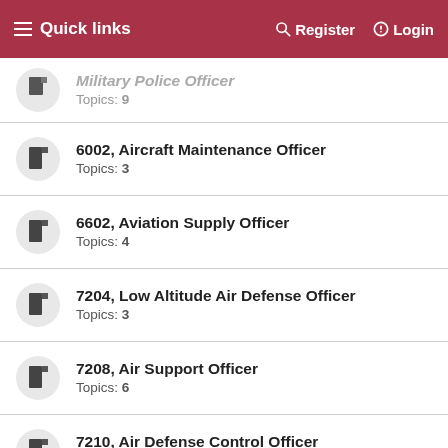≡ Quick links | Register | Login
Military Police Officer – Topics: 9 (partial, cut off at top)
6002, Aircraft Maintenance Officer – Topics: 3
6602, Aviation Supply Officer – Topics: 4
7204, Low Altitude Air Defense Officer – Topics: 3
7208, Air Support Officer – Topics: 6
7210, Air Defense Control Officer – Topics: 2